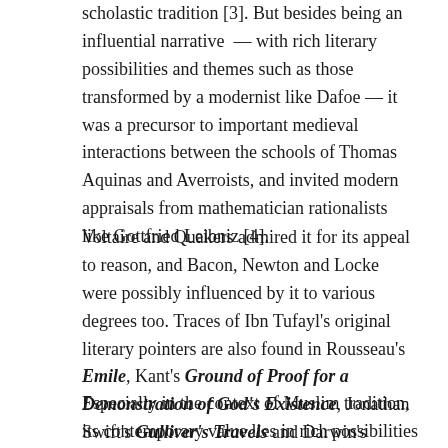scholastic tradition [3]. But besides being an influential narrative — with rich literary possibilities and themes such as those transformed by a modernist like Dafoe — it was a precursor to important medieval interactions between the schools of Thomas Aquinas and Averroists, and invited modern appraisals from mathematician rationalists like Gottfried Leibniz [4].
Voltaire and Quakers admired it for its appeal to reason, and Bacon, Newton and Locke were possibly influenced by it to various degrees too. Traces of Ibn Tufayl's original literary pointers are also found in Rousseau's Emile, Kant's Ground of Proof for a Demonstration of God's Existence, Jonathan Swift's Gulliver's Travels and Darwin's Origin of Species among others.
Especially in the context of Muslim tradition, its contemporary value lies in rich possibilities to bridge gaps between reason and revelation. It has also been seen to call self-criticism...